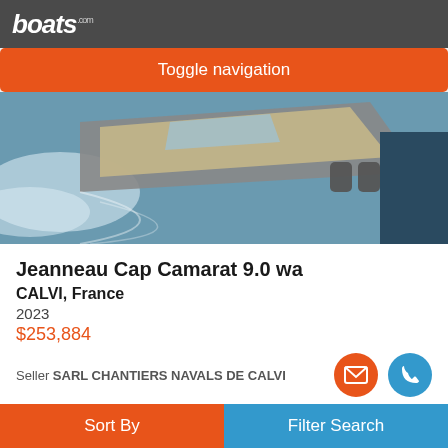boats.com
Toggle navigation
[Figure (photo): Aerial/top-down view of a Jeanneau Cap Camarat 9.0 wa motorboat underway on water, showing the deck and wake]
Jeanneau Cap Camarat 9.0 wa
CALVI, France
2023
$253,884
Seller SARL CHANTIERS NAVALS DE CALVI
[Figure (photo): Partial view of another boat listing with blue background and photo count badge showing camera icon and number 6]
Sort By
Filter Search